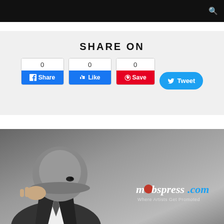SHARE ON
0 Share | 0 Like | 0 Save | Tweet
[Figure (photo): Black and white photo of a man in a suit holding a hat over his face, with mobspress.com logo overlay — Where Artists Get Promoted]